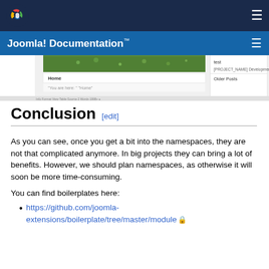Joomla! Documentation™
[Figure (screenshot): Screenshot of a Joomla website frontend showing a header image with green leaves, navigation with Home link, 'You are here' breadcrumb, and a sidebar with 'test', '[PROJECT_NAME] Development', and 'Older Posts' sections.]
Conclusion [edit]
As you can see, once you get a bit into the namespaces, they are not that complicated anymore. In big projects they can bring a lot of benefits. However, we should plan namespaces, as otherwise it will soon be more time-consuming.
You can find boilerplates here:
https://github.com/joomla-extensions/boilerplate/tree/master/module 🔒